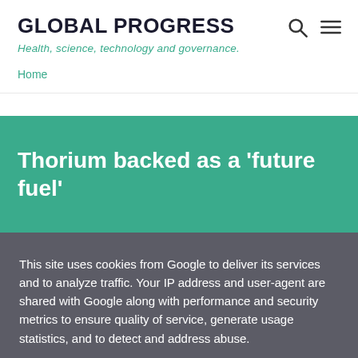GLOBAL PROGRESS
Health, science, technology and governance.
Home
Thorium backed as a 'future fuel'
This site uses cookies from Google to deliver its services and to analyze traffic. Your IP address and user-agent are shared with Google along with performance and security metrics to ensure quality of service, generate usage statistics, and to detect and address abuse.
LEARN MORE   OK